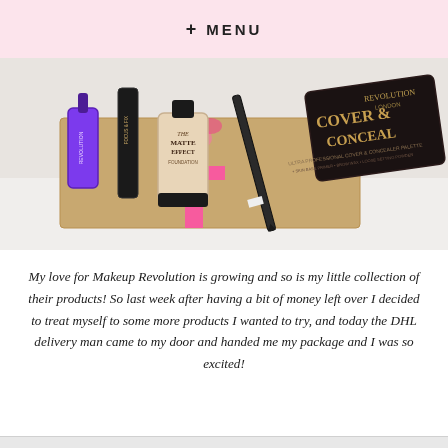+ MENU
[Figure (photo): A flat lay photo of Makeup Revolution products including a purple nail polish, Focus & Fix setting spray, The Matte Effect foundation, an eyeliner pencil, and a Cover & Conceal palette, arranged on a kraft paper box with pink ribbon on a white surface.]
My love for Makeup Revolution is growing and so is my little collection of their products! So last week after having a bit of money left over I decided to treat myself to some more products I wanted to try, and today the DHL delivery man came to my door and handed me my package and I was so excited!